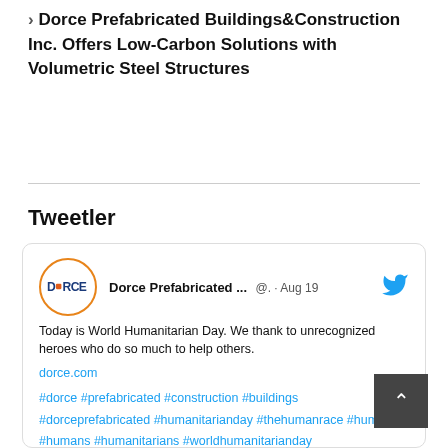> Dorce Prefabricated Buildings&Construction Inc. Offers Low-Carbon Solutions with Volumetric Steel Structures
Tweetler
[Figure (screenshot): Tweet card from Dorce Prefabricated account dated Aug 19. Text: Today is World Humanitarian Day. We thank to unrecognized heroes who do so much to help others. dorce.com #dorce #prefabricated #construction #buildings #dorceprefabricated #humanitarianday #thehumanrace #human #humans #humanitarians #worldhumanitarianday]